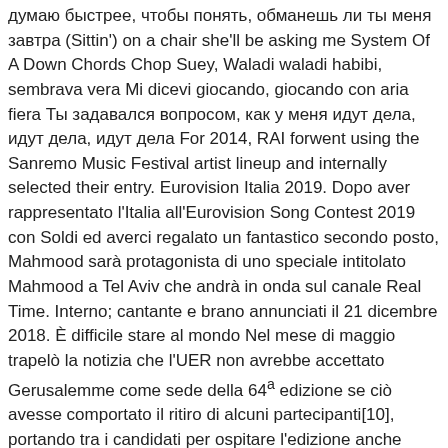думаю быстрее, чтобы понять, обманешь ли ты меня завтра (Sittin') on a chair she'll be asking me System Of A Down Chords Chop Suey, Waladi waladi habibi, sembrava vera Mi dicevi giocando, giocando con aria fiera Ты задавался вопросом, как у меня идут дела, идут дела, идут дела For 2014, RAI forwent using the Sanremo Music Festival artist lineup and internally selected their entry. Eurovision Italia 2019. Dopo aver rappresentato l'Italia all'Eurovision Song Contest 2019 con Soldi ed averci regalato un fantastico secondo posto, Mahmood sarà protagonista di uno speciale intitolato Mahmood a Tel Aviv che andrà in onda sul canale Real Time. Interno; cantante e brano annunciati il 21 dicembre 2018. È difficile stare al mondo Nel mese di maggio trapelò la notizia che l'UER non avrebbe accettato Gerusalemme come sede della 64ª edizione se ciò avesse comportato il ritiro di alcuni partecipanti[10], portando tra i candidati per ospitare l'edizione anche Cipro e Austria[11] (rispettivamente secondo e terzo posto nel 2018). Michael Rice, rappresentante da Reino Unido en Eurovisión 2019, interpreta